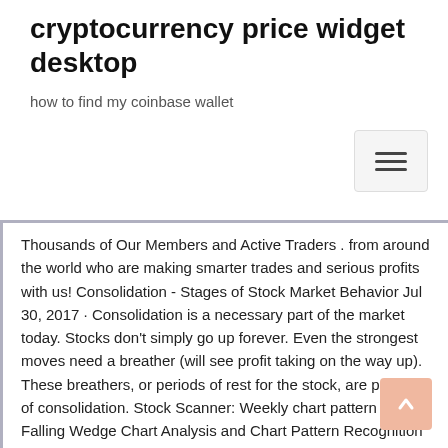cryptocurrency price widget desktop
how to find my coinbase wallet
Thousands of Our Members and Active Traders . from around the world who are making smarter trades and serious profits with us! Consolidation - Stages of Stock Market Behavior Jul 30, 2017 · Consolidation is a necessary part of the market today. Stocks don't simply go up forever. Even the strongest moves need a breather (will see profit taking on the way up). These breathers, or periods of rest for the stock, are periods of consolidation. Stock Scanner: Weekly chart pattern is Falling Wedge Chart Analysis and Chart Pattern Recognition – Falling Wedge Pattern. A falling wedge pattern is a triangle formation with noticeable slant to the downside. It represents the loss of the downside momentum on each successive low and has a bullish bias. The falling wedges pattern usually marks a reversal in a downtrend. How to trade Wedges - Broadening Wedges and Broadening – Broadening Wedges are one of a